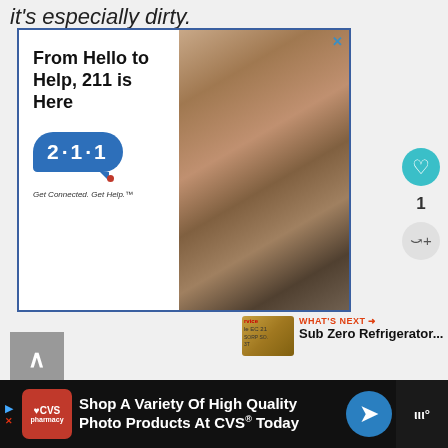it's especially dirty.
[Figure (photo): Advertisement banner: '211 is Here' with photo of elderly man and 211 messaging logo]
[Figure (photo): What's Next thumbnail for Sub Zero Refrigerator article]
WHAT'S NEXT → Sub Zero Refrigerator...
[Figure (other): Back to top button (upward arrow on gray square)]
[Figure (other): Bottom advertisement bar: CVS Pharmacy - Shop A Variety Of High Quality Photo Products At CVS® Today]